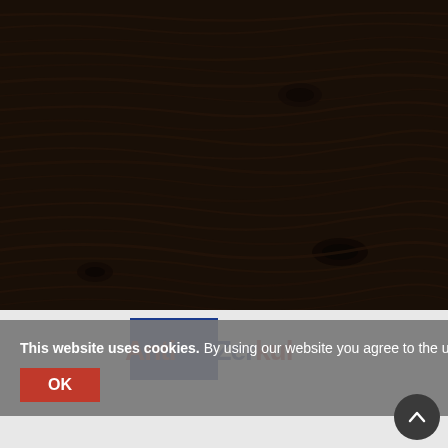[Figure (photo): Dark wood texture background with horizontal grain patterns, knots visible, very dark brown/almost black tone]
This website uses cookies. By using our website you agree to the use of cookies. Learn more
OK